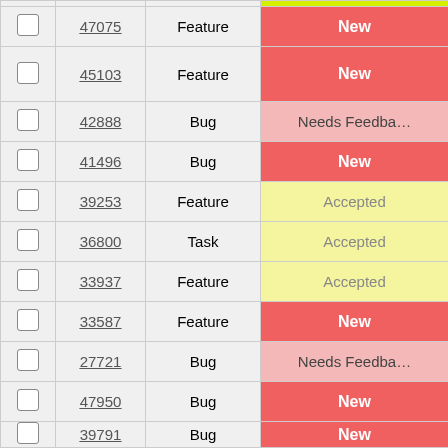|  | ID | Type | Status |
| --- | --- | --- | --- |
| ☐ | 47075 | Feature | New |
| ☐ | 45103 | Feature | New |
| ☐ | 42888 | Bug | Needs Feedback |
| ☐ | 41496 | Bug | New |
| ☐ | 39253 | Feature | Accepted |
| ☐ | 36800 | Task | Accepted |
| ☐ | 33937 | Feature | Accepted |
| ☐ | 33587 | Feature | New |
| ☐ | 27721 | Bug | Needs Feedback |
| ☐ | 47950 | Bug | New |
| ☐ | 39791 | Bug | New |